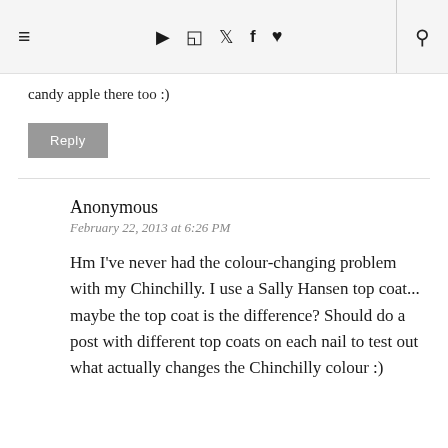≡ ▶ 📷 🐦 f ♥ 🔍
candy apple there too :)
Reply
Anonymous
February 22, 2013 at 6:26 PM

Hm I've never had the colour-changing problem with my Chinchilly. I use a Sally Hansen top coat... maybe the top coat is the difference? Should do a post with different top coats on each nail to test out what actually changes the Chinchilly colour :)